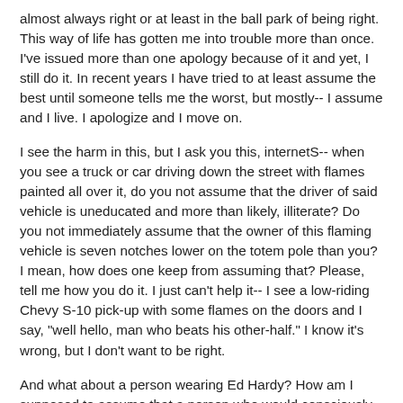almost always right or at least in the ball park of being right. This way of life has gotten me into trouble more than once. I've issued more than one apology because of it and yet, I still do it. In recent years I have tried to at least assume the best until someone tells me the worst, but mostly-- I assume and I live. I apologize and I move on.
I see the harm in this, but I ask you this, internetS-- when you see a truck or car driving down the street with flames painted all over it, do you not assume that the driver of said vehicle is uneducated and more than likely, illiterate? Do you not immediately assume that the owner of this flaming vehicle is seven notches lower on the totem pole than you? I mean, how does one keep from assuming that? Please, tell me how you do it. I just can't help it-- I see a low-riding Chevy S-10 pick-up with some flames on the doors and I say, "well hello, man who beats his other-half." I know it's wrong, but I don't want to be right.
And what about a person wearing Ed Hardy? How am I supposed to assume that a person who would consciously wear a bedazzled tiger across their chest isn't brain dead?